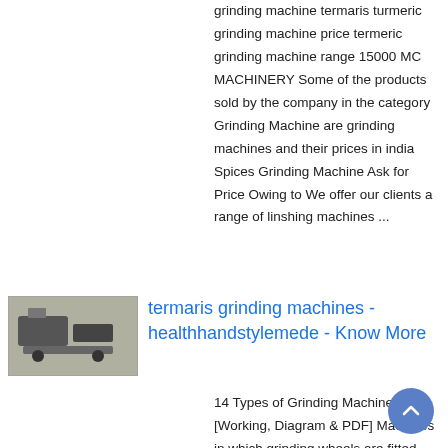grinding machine termaris turmeric grinding machine price termeric grinding machine range 15000 MC MACHINERY Some of the products sold by the company in the category Grinding Machine are grinding machines and their prices in india Spices Grinding Machine Ask for Price Owing to We offer our clients a range of linshing machines ...
[Figure (photo): Thumbnail image of a grinding machine]
termaris grinding machines - healthhandstylemede - Know More
14 Types of Grinding Machines [Working, Diagram & PDF] Machines in which grinding wheels are fitted and grinding is done, such machines are